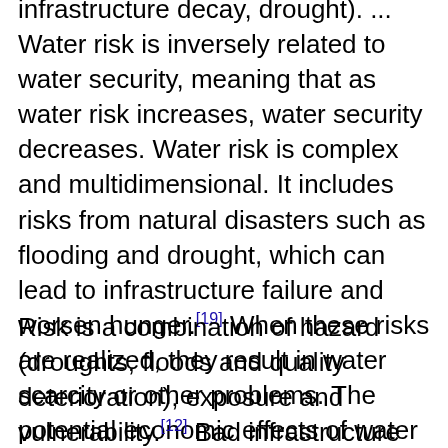infrastructure decay, drought). ... Water risk is inversely related to water security, meaning that as water risk increases, water security decreases. Water risk is complex and multidimensional. It includes risks from natural disasters such as flooding and drought, which can lead to infrastructure failure and worsen hunger.[19] When these risks are realized, they result in water scarcity or other problems. The potential economic effects of water risk are significant. Entire industries, such as the food and beverage, agriculture, oil and gas, utilities, semiconductor and industries, are threatened by water risk. Agriculture uses 69% of global freshwater, making the industry extremely vulnerable to water stress.[20]
Risk is a combination of hazard (droughts, floods and quality deterioration), exposure and vulnerability.[12] Bad infrastructure and bad governance result in high vulnerability.